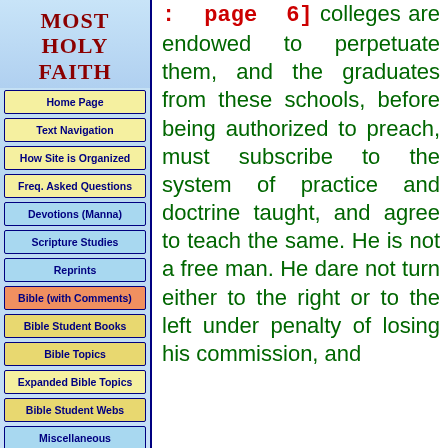MOST HOLY FAITH
Home Page
Text Navigation
How Site is Organized
Freq. Asked Questions
Devotions (Manna)
Scripture Studies
Reprints
Bible (with Comments)
Bible Student Books
Bible Topics
Expanded Bible Topics
Bible Student Webs
Miscellaneous
: page 6] colleges are endowed to perpetuate them, and the graduates from these schools, before being authorized to preach, must subscribe to the system of practice and doctrine taught, and agree to teach the same. He is not a free man. He dare not turn either to the right or to the left under penalty of losing his commission, and